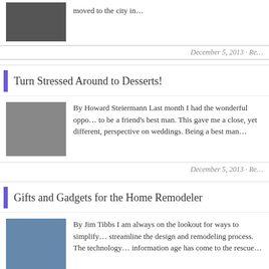moved to the city in…
December 5, 2013 · Re…
Turn Stressed Around to Desserts!
By Howard Steiermann Last month I had the wonderful oppo… to be a friend's best man. This gave me a close, yet different, perspective on weddings. Being a best man…
December 5, 2013 · Re…
Gifts and Gadgets for the Home Remodeler
By Jim Tibbs I am always on the lookout for ways to simplify… streamline the design and remodeling process. The technology… information age has come to the rescue…
December 5, 2013 · Re…
World Tour of Homes 2013